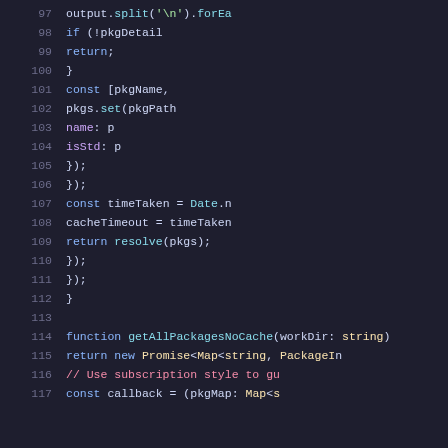Code listing lines 97-117, JavaScript/TypeScript source code showing package cache logic and getAllPackagesNoCache function